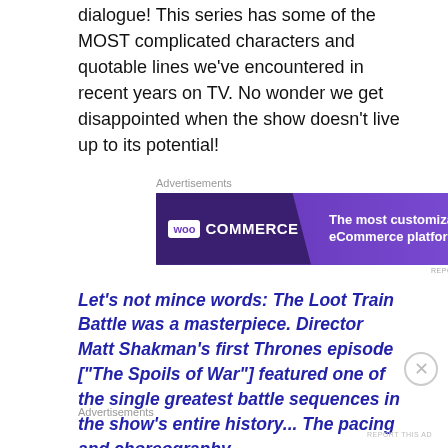dialogue! This series has some of the MOST complicated characters and quotable lines we've encountered in recent years on TV. No wonder we get disappointed when the show doesn't live up to its potential!
[Figure (screenshot): WooCommerce advertisement banner with purple background. Left side shows WooCommerce logo on darker purple. Right side shows text: 'The most customizable eCommerce platform']
Let's not mince words: The Loot Train Battle was a masterpiece. Director Matt Shakman's first Thrones episode ["The Spoils of War"] featured one of the single greatest battle sequences in the show's entire history... The pacing and choreography